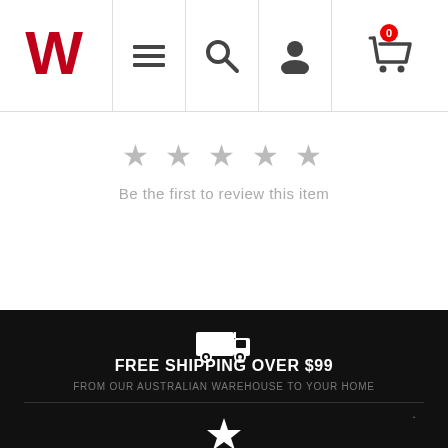[Figure (logo): Wilson 'W' logo in red, navigation bar with hamburger menu, search icon, user icon, and cart icon with badge showing 0]
★ ★ ★ ★ ★
Be the first to review this item
[Figure (illustration): White delivery truck icon on black background]
FREE SHIPPING OVER $99
FROM OUR AUSTRALIAN WAREHOUSE TO YOUR HOME
[Figure (illustration): White star icon partially visible at bottom]